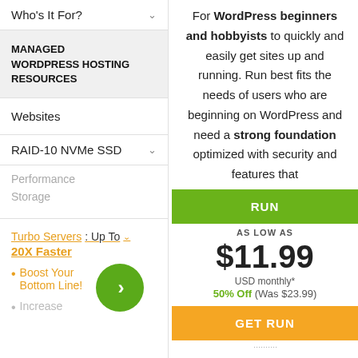Who's It For?
MANAGED WORDPRESS HOSTING RESOURCES
Websites
RAID-10 NVMe SSD
Performance Storage
Turbo Servers: Up To 20X Faster
Boost Your Bottom Line!
Increase
For WordPress beginners and hobbyists to quickly and easily get sites up and running. Run best fits the needs of users who are beginning on WordPress and need a strong foundation optimized with security and features that
RUN
AS LOW AS
$11.99
USD monthly*
50% Off (Was $23.99)
GET RUN